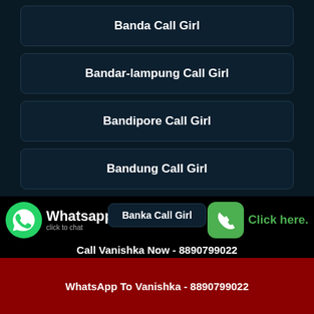Banda Call Girl
Bandar-lampung Call Girl
Bandipore Call Girl
Bandung Call Girl
Banff Call Girl
Bangalore-rural Call Girl
Banjarmasin Call Girl
Banka Call Girl
Whatsapp click to chat
Call Vanishka Now - 8890799022
Click here.
WhatsApp To Vanishka - 8890799022